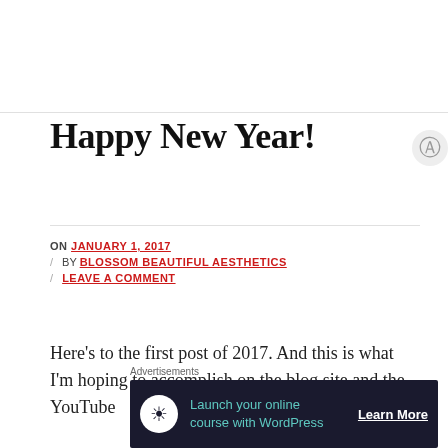Happy New Year!
ON JANUARY 1, 2017 / BY BLOSSOM BEAUTIFUL AESTHETICS / LEAVE A COMMENT
Here's to the first post of 2017. And this is what I'm hoping to accomplish on the blog site and the YouTube
[Figure (other): Advertisement banner: Launch your online course with WordPress - Learn More button on dark navy background]